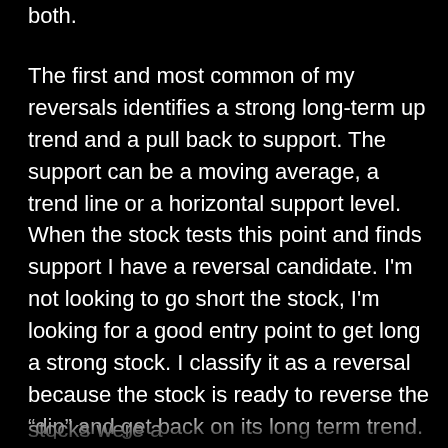both.
The first and most common of my reversals identifies a strong long-term up trend and a pull back to support. The support can be a moving average, a trend line or a horizontal support level. When the stock tests this point and finds support I have a reversal candidate. I'm not looking to go short the stock, I'm looking for a good entry point to get long a strong stock. I classify it as a reversal because the stock is ready to reverse the "dip" and get back on its long term trend. The trend is your friend and you should always have the wind at your back. For this trade to work, you have to make sure that the pullback in price was temporary. It could have been the result of a market decline or perhaps the stock just got ahead of itself. In either case, look at the news and make that determination. The energy stocks were a